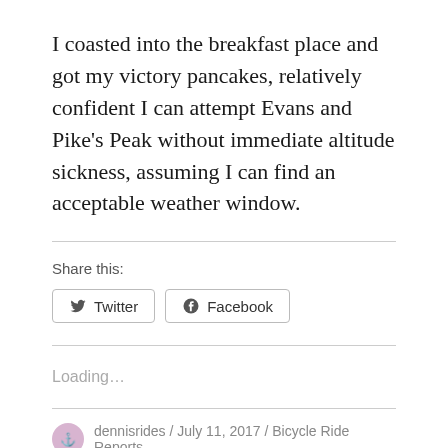I coasted into the breakfast place and got my victory pancakes, relatively confident I can attempt Evans and Pike’s Peak without immediate altitude sickness, assuming I can find an acceptable weather window.
Share this:
Twitter
Facebook
Loading…
dennisrides / July 11, 2017 / Bicycle Ride Reports